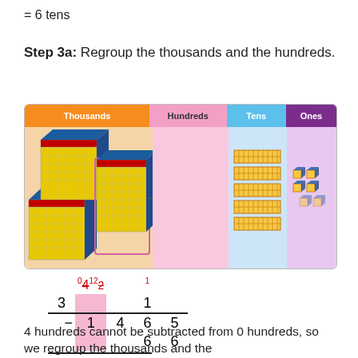= 6 tens
Step 3a: Regroup the thousands and the hundreds.
[Figure (illustration): Place value chart with columns: Thousands (orange header, tan body with 3D cube blocks), Hundreds (pink header, pink body), Tens (blue header, light blue body with flat ten-strips), Ones (purple header, lavender body with small cube pieces). An arrow points from the Thousands column toward the Hundreds column, indicating regrouping.]
4 hundreds cannot be subtracted from 0 hundreds, so we regroup the thousands and the